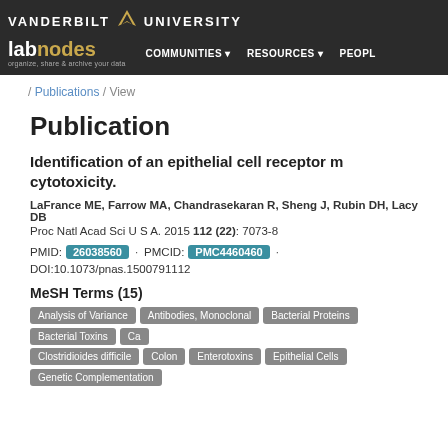VANDERBILT UNIVERSITY — labnodes — COMMUNITIES · RESOURCES · PEOPLE
/ Publications / View
Publication
Identification of an epithelial cell receptor mediating Clostridium difficile TcdB-induced cytotoxicity.
LaFrance ME, Farrow MA, Chandrasekaran R, Sheng J, Rubin DH, Lacy DB
Proc Natl Acad Sci U S A. 2015 112 (22): 7073-8
PMID: 26038560 · PMCID: PMC4460460 · DOI:10.1073/pnas.1500791112
MeSH Terms (15)
Analysis of Variance, Antibodies, Monoclonal, Bacterial Proteins, Bacterial Toxins, Ca..., Clostridioides difficile, Colon, Enterotoxins, Epithelial Cells, Genetic Complementation...